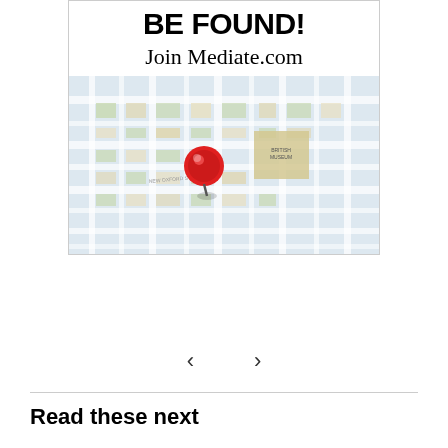[Figure (illustration): Advertisement banner for Mediate.com. Top text in bold black: 'BE FOUND!' Below in serif font: 'Join Mediate.com'. Below that, a photo of a city map with a red pushpin stuck into it.]
< >
Read these next